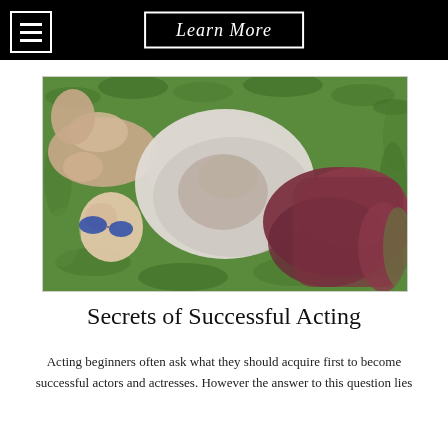Learn More
[Figure (photo): Person lying on grass wearing a white shirt and maroon/dark red pants, viewed from above, with arms raised]
Secrets of Successful Acting
Acting beginners often ask what they should acquire first to become successful actors and actresses. However the answer to this question lies